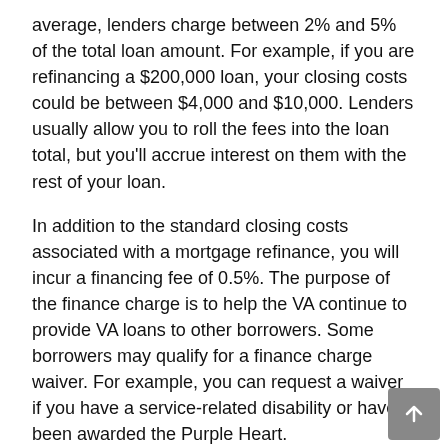average, lenders charge between 2% and 5% of the total loan amount. For example, if you are refinancing a $200,000 loan, your closing costs could be between $4,000 and $10,000. Lenders usually allow you to roll the fees into the loan total, but you'll accrue interest on them with the rest of your loan.
In addition to the standard closing costs associated with a mortgage refinance, you will incur a financing fee of 0.5%. The purpose of the finance charge is to help the VA continue to provide VA loans to other borrowers. Some borrowers may qualify for a finance charge waiver. For example, you can request a waiver if you have a service-related disability or have been awarded the Purple Heart.
How to apply for VA IRRRL
When you're ready to apply for your refinance, here's what you need to do:
1. Choose a lender. You can work with your current lender